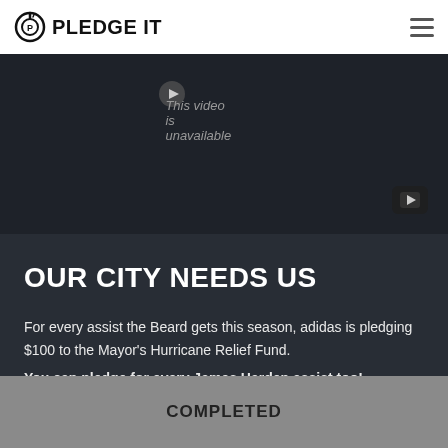PLEDGE IT
[Figure (screenshot): Embedded video player showing 'This video is unavailable' message on dark background with YouTube play button icon]
OUR CITY NEEDS US
For every assist the Beard gets this season, adidas is pledging $100 to the Mayor's Hurricane Relief Fund. You can pledge for every James Harden assist too!
COMPLETED